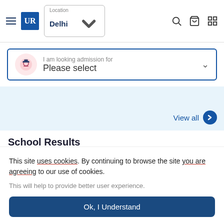[Figure (screenshot): Website navigation bar with hamburger menu, UR logo in blue square, Location Delhi dropdown, search icon, cart icon, and grid icon]
[Figure (screenshot): Search bar with pink graduation cap icon, text 'I am looking admission for Please select' and chevron dropdown]
[Figure (screenshot): Light blue area with 'View all' link and blue circle arrow button]
School Results
[Figure (illustration): Illustration of graduates in mortarboard caps celebrating on a light blue circular background]
This site uses cookies. By continuing to browse the site you are agreeing to our use of cookies.
This will help to provide better user experience.
Ok, I Understand